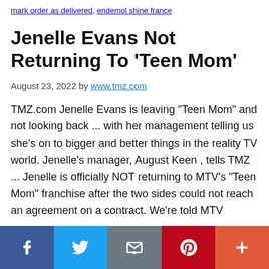mark order as delivered, endemol shine france
Jenelle Evans Not Returning To 'Teen Mom'
August 23, 2022 by www.tmz.com
TMZ.com Jenelle Evans is leaving "Teen Mom" and not looking back ... with her management telling us she's on to bigger and better things in the reality TV world. Jenelle's manager, August Keen , tells TMZ ... Jenelle is officially NOT returning to MTV's "Teen Mom" franchise after the two sides could not reach an agreement on a contract. We're told MTV